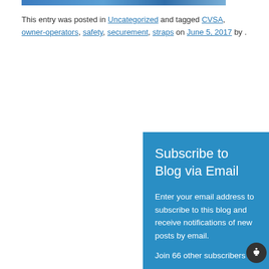[Figure (photo): Partial blue image strip at top of page]
This entry was posted in Uncategorized and tagged CVSA, owner-operators, safety, securement, straps on June 5, 2017 by .
Subscribe to Blog via Email
Enter your email address to subscribe to this blog and receive notifications of new posts by email.
Join 66 other subscribers
Email Address
Subscribe